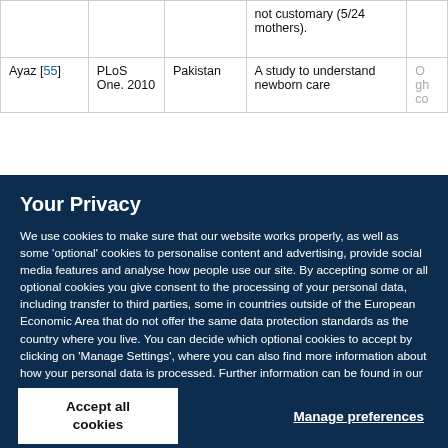| Author | Journal | Country | Aim | ... |
| --- | --- | --- | --- | --- |
|  |  |  | not customary (5/24 mothers). |  |
| Ayaz [55] | PLoS One. 2010 | Pakistan | A study to understand newborn care | O... gh... co... |
Your Privacy
We use cookies to make sure that our website works properly, as well as some 'optional' cookies to personalise content and advertising, provide social media features and analyse how people use our site. By accepting some or all optional cookies you give consent to the processing of your personal data, including transfer to third parties, some in countries outside of the European Economic Area that do not offer the same data protection standards as the country where you live. You can decide which optional cookies to accept by clicking on 'Manage Settings', where you can also find more information about how your personal data is processed. Further information can be found in our privacy policy.